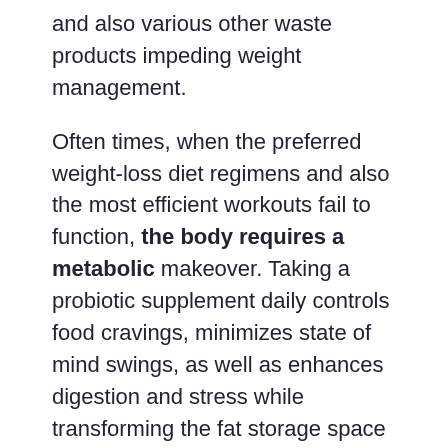and also various other waste products impeding weight management.
Often times, when the preferred weight-loss diet regimens and also the most efficient workouts fail to function, the body requires a metabolic makeover. Taking a probiotic supplement daily controls food cravings, minimizes state of mind swings, as well as enhances digestion and stress while transforming the fat storage space capacity of the body.
There are 30 pills in each container of LeanBiome, and this bottle suffices for the whole month. Every pill is made with particular nutritional ingredients, playing an useful duty in weight loss. It may